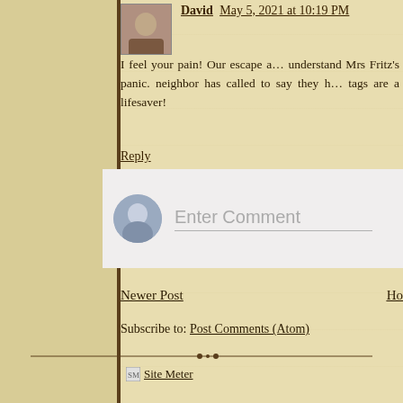David  May 5, 2021 at 10:19 PM
I feel your pain! Our escape a… understand Mrs Fritz's panic. neighbor has called to say they h… tags are a lifesaver!
Reply
[Figure (screenshot): Enter Comment input box with user avatar icon placeholder]
Newer Post
Home
Subscribe to: Post Comments (Atom)
[Figure (other): Decorative horizontal divider with ornamental dots]
[Figure (other): Site Meter image link]